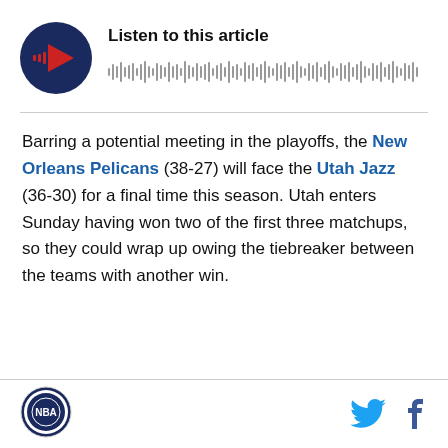[Figure (other): Audio player widget with circular play button (dark navy circle with red play triangle) and waveform visualization bars, labeled 'Listen to this article']
Barring a potential meeting in the playoffs, the New Orleans Pelicans (38-27) will face the Utah Jazz (36-30) for a final time this season. Utah enters Sunday having won two of the first three matchups, so they could wrap up owing the tiebreaker between the teams with another win.
[Figure (logo): Sports website logo - circular emblem]
[Figure (other): Twitter bird icon and Facebook f icon social media share buttons]